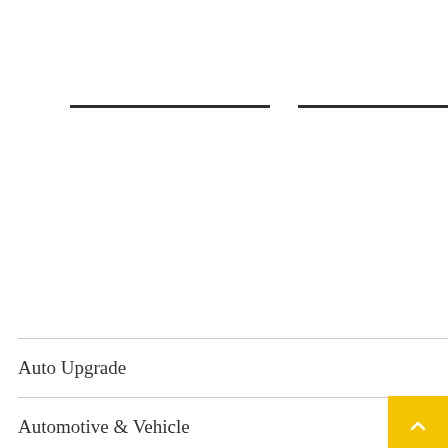[Figure (other): Two horizontal dark divider lines at the top portion of the page]
Auto Upgrade
Automotive & Vehicle